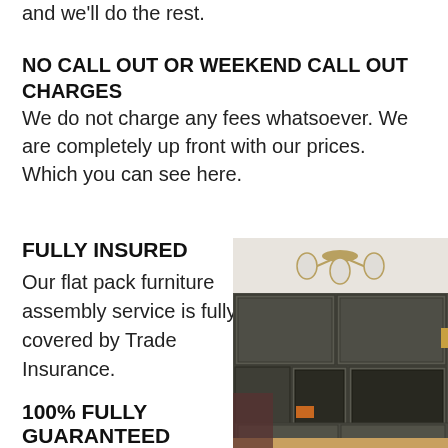and we'll do the rest.
NO CALL OUT OR WEEKEND CALL OUT CHARGES
We do not charge any fees whatsoever. We are completely up front with our prices. Which you can see here.
FULLY INSURED
Our flat pack furniture assembly service is fully covered by Trade Insurance.
100% FULLY GUARANTEED
Our service
[Figure (photo): Photo of assembled dark grey flat pack wall unit/entertainment center with shelving and cabinets, in a living room with a chandelier visible at the top]